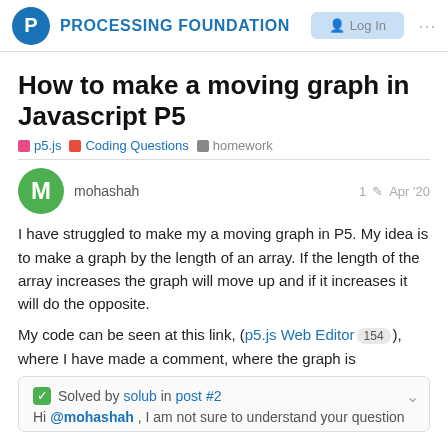PROCESSING FOUNDATION  Log In
How to make a moving graph in Javascript P5
p5.js  Coding Questions  homework
mohashah  1  Apr '20
I have struggled to make my a moving graph in P5. My idea is to make a graph by the length of an array. If the length of the array increases the graph will move up and if it increases it will do the opposite.
My code can be seen at this link, (p5.js Web Editor 154 ), where I have made a comment, where the graph is
Solved by solub in post #2
Hi @mohashah , I am not sure to understand your question